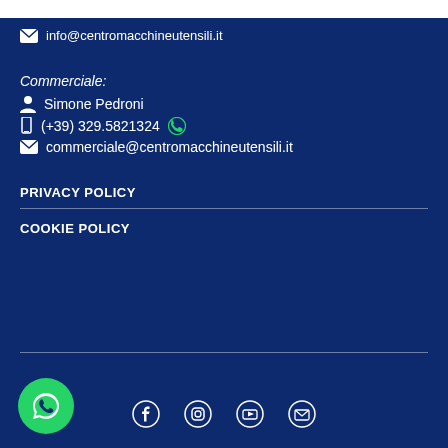info@centromacchineутensili.it
Commerciale:
Simone Pedroni
(+39) 329.5821324
commerciale@centromacchineutensili.it
PRIVACY POLICY
COOKIE POLICY
[Figure (infographic): Social media icons: Facebook, Instagram, YouTube, Email and WhatsApp floating button]